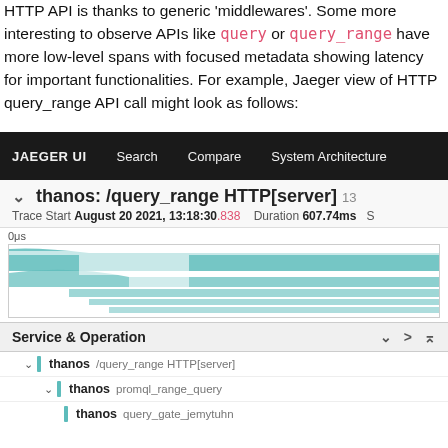HTTP API is thanks to generic 'middlewares'. Some more interesting to observe APIs like query or query_range have more low-level spans with focused metadata showing latency for important functionalities. For example, Jaeger view of HTTP query_range API call might look as follows:
[Figure (screenshot): Jaeger UI screenshot showing a trace for thanos: /query_range HTTP[server] from August 20 2021, 13:18:30.838 with duration 607.74ms. Shows timeline visualization and span tree with thanos service operations including /query_range HTTP[server], promql_range_query, and query_gate_jemytuhn.]